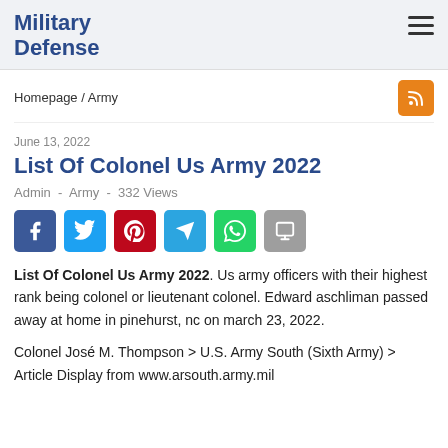Military Defense
Homepage / Army
June 13, 2022
List Of Colonel Us Army 2022
Admin - Army - 332 Views
[Figure (other): Social media share buttons: Facebook, Twitter, Pinterest, Telegram, WhatsApp, Share]
List Of Colonel Us Army 2022. Us army officers with their highest rank being colonel or lieutenant colonel. Edward aschliman passed away at home in pinehurst, nc on march 23, 2022.
Colonel José M. Thompson > U.S. Army South (Sixth Army) > Article Display from www.arsouth.army.mil